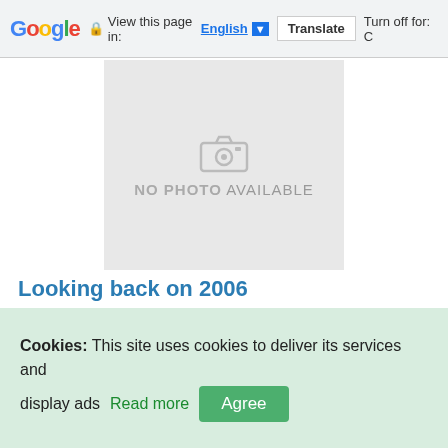Google — View this page in: English [▼] Translate | Turn off for: C
[Figure (photo): No photo available placeholder image with camera icon]
Looking back on 2006
Dear users, readers, contributors, moderators and administrators, colleagues
The year 2006 is over, so let me take a brief look at what our server meant to me personally and this year.
11.418
[Figure (photo): Partial next post image placeholder (cropped)]
Cookies: This site uses cookies to deliver its services and display ads Read more Agree